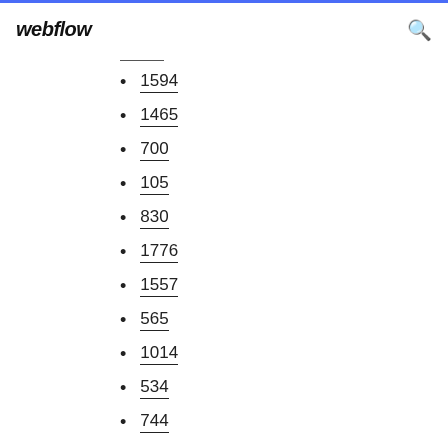webflow
1594
1465
700
105
830
1776
1557
565
1014
534
744
1104